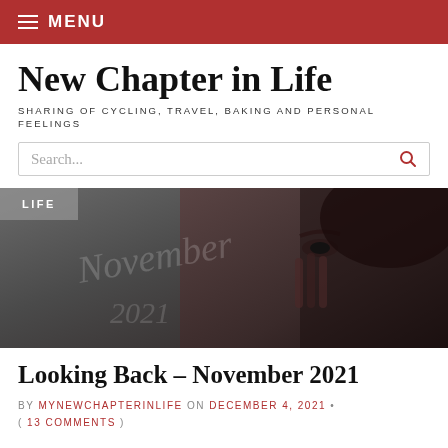MENU
New Chapter in Life
SHARING OF CYCLING, TRAVEL, BAKING AND PERSONAL FEELINGS
Search...
[Figure (photo): A moody, dark-toned photo of a person's face partially visible, with text 'November 2021' overlaid. A 'LIFE' category tag is overlaid in the top-left corner.]
Looking Back – November 2021
BY MYNEWCHAPTERINLIFE ON DECEMBER 4, 2021 • ( 13 COMMENTS )